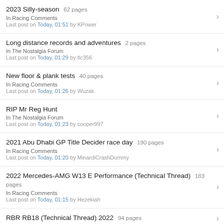2023 Silly-season  62 pages
In Racing Comments
Last post on Today, 01:51 by KPower
Long distance records and adventures  2 pages
In The Nostalgia Forum
Last post on Today, 01:29 by tlc356
New floor & plank tests  40 pages
In Racing Comments
Last post on Today, 01:26 by Wuzak
RIP Mr Reg Hunt
In The Nostalgia Forum
Last post on Today, 01:23 by cooper997
2021 Abu Dhabi GP Title Decider race day  190 pages
In Racing Comments
Last post on Today, 01:20 by MinardiCrashDummy
2022 Mercedes-AMG W13 E Performance (Technical Thread)  183 pages
In Racing Comments
Last post on Today, 01:15 by Hezekiah
RBR RB18 (Technical Thread) 2022  94 pages